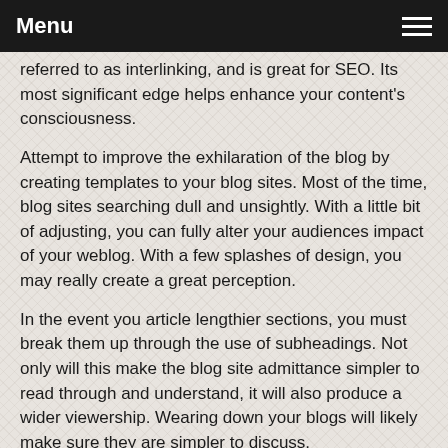Menu
referred to as interlinking, and is great for SEO. Its most significant edge helps enhance your content's consciousness.
Attempt to improve the exhilaration of the blog by creating templates to your blog sites. Most of the time, blog sites searching dull and unsightly. With a little bit of adjusting, you can fully alter your audiences impact of your weblog. With a few splashes of design, you may really create a great perception.
In the event you article lengthier sections, you must break them up through the use of subheadings. Not only will this make the blog site admittance simpler to read through and understand, it will also produce a wider viewership. Wearing down your blogs will likely make sure they are simpler to discuss.